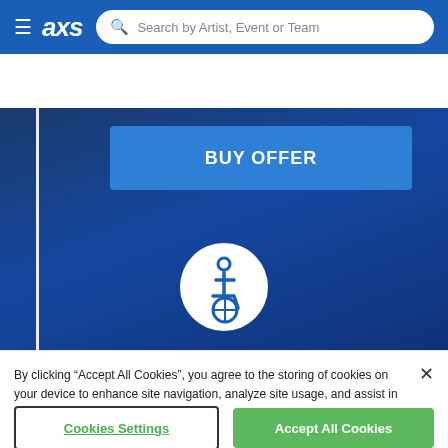[Figure (screenshot): AXS website navigation bar with hamburger menu, AXS logo, and search bar reading 'Search by Artist, Event or Team']
[Figure (screenshot): AXS website hero area with dark blue background, a 'BUY OFFER' button, a wheelchair accessibility icon in a white circle, and partial text 'LOW VISION  BLIND  DEAF' at the bottom]
By clicking “Accept All Cookies”, you agree to the storing of cookies on your device to enhance site navigation, analyze site usage, and assist in our marketing efforts.
Cookies Settings
Accept All Cookies